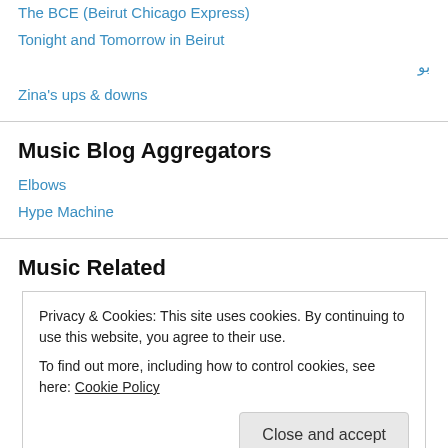The BCE (Beirut Chicago Express)
Tonight and Tomorrow in Beirut
بو
Zina's ups & downs
Music Blog Aggregators
Elbows
Hype Machine
Music Related
Privacy & Cookies: This site uses cookies. By continuing to use this website, you agree to their use.
To find out more, including how to control cookies, see here: Cookie Policy
Close and accept
k-punk